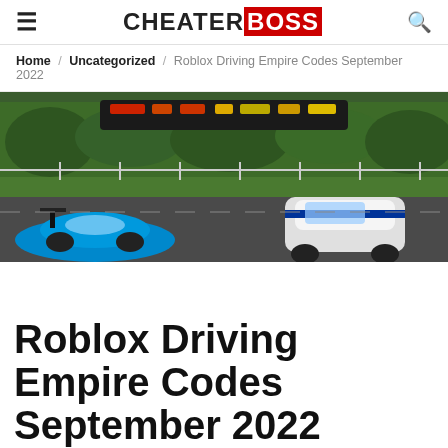CHEATERBOSS
Home / Uncategorized / Roblox Driving Empire Codes September 2022
[Figure (screenshot): Screenshot of Roblox Driving Empire game showing racing cars on a track with a scoreboard in the background]
Roblox Driving Empire Codes September 2022